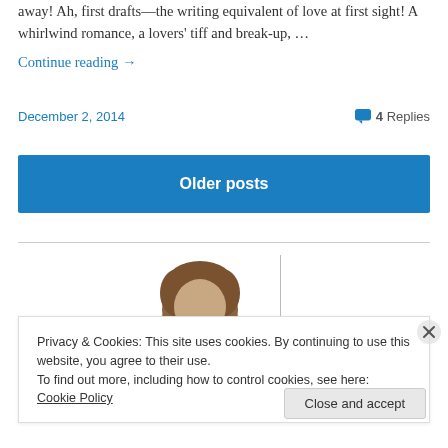away! Ah, first drafts—the writing equivalent of love at first sight! A whirlwind romance, a lovers' tiff and break-up, …
Continue reading →
December 2, 2014
4 Replies
Older posts
[Figure (photo): Partial view of a person's head with brown hair, cropped at the top of the frame]
Privacy & Cookies: This site uses cookies. By continuing to use this website, you agree to their use.
To find out more, including how to control cookies, see here: Cookie Policy
Close and accept